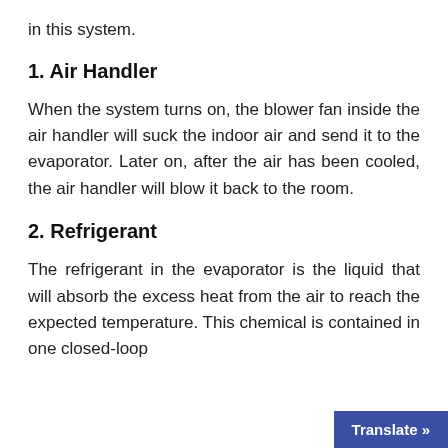in this system.
1. Air Handler
When the system turns on, the blower fan inside the air handler will suck the indoor air and send it to the evaporator. Later on, after the air has been cooled, the air handler will blow it back to the room.
2. Refrigerant
The refrigerant in the evaporator is the liquid that will absorb the excess heat from the air to reach the expected temperature. This chemical is contained in one closed-loop